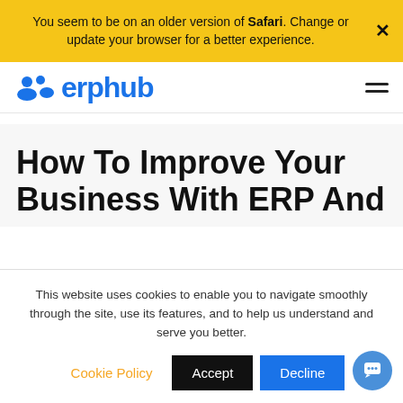You seem to be on an older version of Safari. Change or update your browser for a better experience.
[Figure (logo): ERPHub logo with blue icon and blue text 'erphub']
How To Improve Your Business With ERP And
This website uses cookies to enable you to navigate smoothly through the site, use its features, and to help us understand and serve you better.
Cookie Policy  Accept  Decline